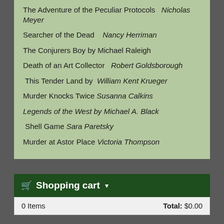The Adventure of the Peculiar Protocols  Nicholas Meyer
Searcher of the Dead   Nancy Herriman
The Conjurers Boy by Michael Raleigh
Death of an Art Collector  Robert Goldsborough
This Tender Land by  William Kent Krueger
Murder Knocks Twice  Susanna Calkins
Legends of the West by Michael A. Black
Shell Game  Sara Paretsky
Murder at Astor Place  Victoria Thompson
Shopping cart
0 Items    Total: $0.00